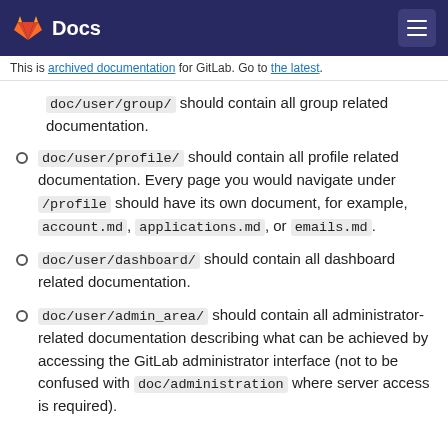Docs
This is archived documentation for GitLab. Go to the latest.
doc/user/group/ should contain all group related documentation.
doc/user/profile/ should contain all profile related documentation. Every page you would navigate under /profile should have its own document, for example, account.md, applications.md, or emails.md.
doc/user/dashboard/ should contain all dashboard related documentation.
doc/user/admin_area/ should contain all administrator-related documentation describing what can be achieved by accessing the GitLab administrator interface (not to be confused with doc/administration where server access is required).